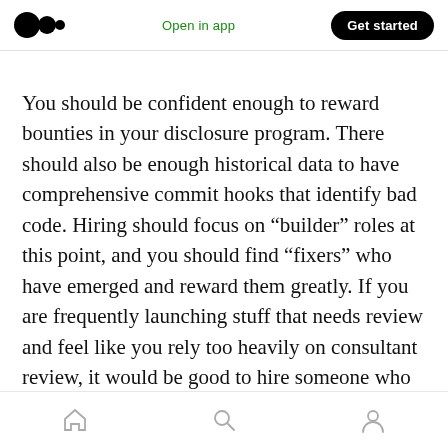Medium logo | Open in app | Get started
You should be confident enough to reward bounties in your disclosure program. There should also be enough historical data to have comprehensive commit hooks that identify bad code. Hiring should focus on “builder” roles at this point, and you should find “fixers” who have emerged and reward them greatly. If you are frequently launching stuff that needs review and feel like you rely too heavily on consultant review, it would be good to hire someone who fits the “breaker” role well, and there may be a specialist on board by now for any high risk area.
Home | Search | Profile